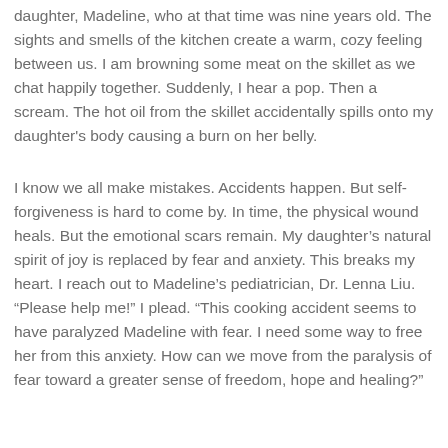daughter, Madeline, who at that time was nine years old. The sights and smells of the kitchen create a warm, cozy feeling between us. I am browning some meat on the skillet as we chat happily together. Suddenly, I hear a pop. Then a scream. The hot oil from the skillet accidentally spills onto my daughter's body causing a burn on her belly.
I know we all make mistakes. Accidents happen. But self-forgiveness is hard to come by. In time, the physical wound heals. But the emotional scars remain. My daughter's natural spirit of joy is replaced by fear and anxiety. This breaks my heart. I reach out to Madeline's pediatrician, Dr. Lenna Liu. “Please help me!” I plead. “This cooking accident seems to have paralyzed Madeline with fear. I need some way to free her from this anxiety. How can we move from the paralysis of fear toward a greater sense of freedom, hope and healing?”